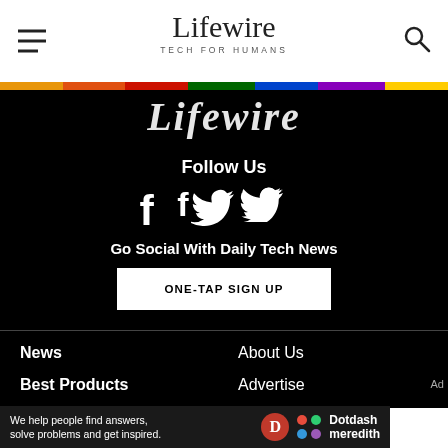Lifewire TECH FOR HUMANS
[Figure (logo): Lifewire logo in white on black banner background]
Follow Us
[Figure (illustration): Facebook and Twitter social media icons in white]
Go Social With Daily Tech News
ONE-TAP SIGN UP
News
Best Products
About Us
Advertise
[Figure (logo): Dotdash Meredith logo with red D circle and colored dots]
We help people find answers, solve problems and get inspired.